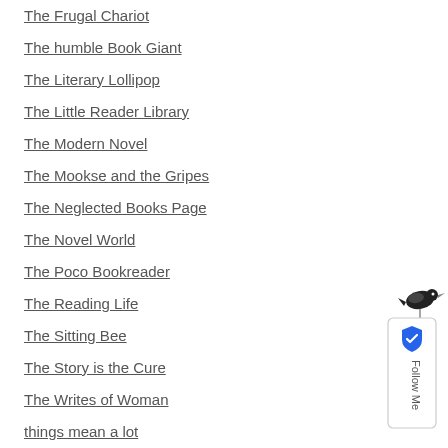The Frugal Chariot
The humble Book Giant
The Literary Lollipop
The Little Reader Library
The Modern Novel
The Mookse and the Gripes
The Neglected Books Page
The Novel World
The Poco Bookreader
The Reading Life
The Sitting Bee
The Story is the Cure
The Writes of Woman
things mean a lot
Time's Flow Stemmed
Tony's Book World
Tony's Reading List
Tony's Reading List (new)
Translationista
[Figure (other): Follow Me social badge widget with bird icon and blue shield icon, displayed vertically on right side of page]